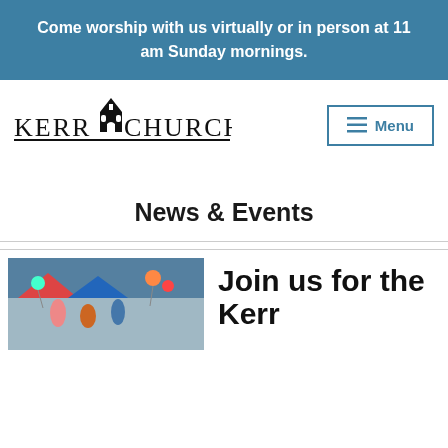Come worship with us virtually or in person at 11 am Sunday mornings.
[Figure (logo): Kerr Church logo with church building icon and text 'Kerr Church' in small caps serif font with underline]
Menu
News & Events
[Figure (photo): Outdoor event photo showing people with colorful balloons and tents]
Join us for the Kerr